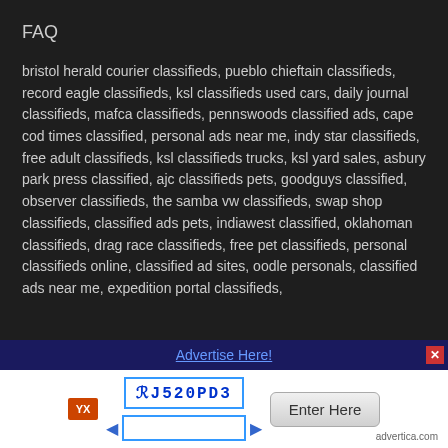FAQ
bristol herald courier classifieds, pueblo chieftain classifieds, record eagle classifieds, ksl classifieds used cars, daily journal classifieds, mafca classifieds, pennswoods classified ads, cape cod times classified, personal ads near me, indy star classifieds, free adult classifieds, ksl classifieds trucks, ksl yard sales, asbury park press classified, ajc classifieds pets, goodguys classified, observer classifieds, the samba vw classifieds, swap shop classifieds, classified ads pets, indiawest classified, oklahoman classifieds, drag race classifieds, free pet classifieds, personal classifieds online, classified ad sites, oodle personals, classified ads near me, expedition portal classifieds,
Advertise Here!
[Figure (other): CAPTCHA widget with code RL520PD3, an input field with left/right arrows, an Enter Here button, a logo icon, and advertica.com branding]